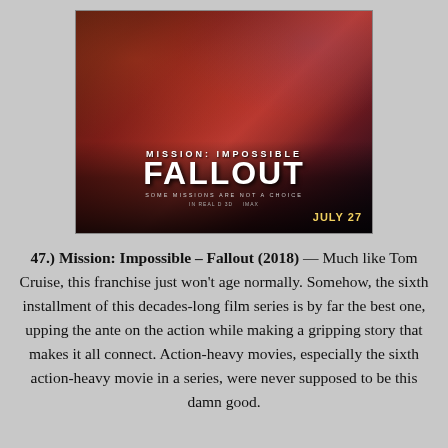[Figure (photo): Movie poster for Mission: Impossible - Fallout (2018). Shows action figures/characters with guns against a red background. Text reads 'MISSION: IMPOSSIBLE FALLOUT', 'SOME MISSIONS ARE NOT A CHOICE', 'REAL D 3D IMAX', 'JULY 27'.]
47.) Mission: Impossible – Fallout (2018) — Much like Tom Cruise, this franchise just won't age normally. Somehow, the sixth installment of this decades-long film series is by far the best one, upping the ante on the action while making a gripping story that makes it all connect. Action-heavy movies, especially the sixth action-heavy movie in a series, were never supposed to be this damn good.